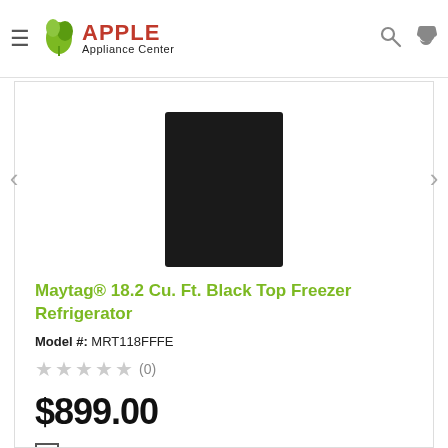[Figure (logo): Apple Appliance Center logo with green leaf icon, red bold APPLE text, and black Appliance Center subtitle]
[Figure (photo): Maytag black top freezer refrigerator product image on white background]
Maytag® 18.2 Cu. Ft. Black Top Freezer Refrigerator
Model #: MRT118FFFE
★★★★★ (0)
$899.00
COMPARE